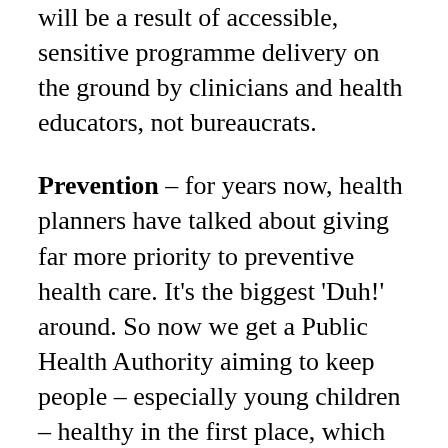will be a result of accessible, sensitive programme delivery on the ground by clinicians and health educators, not bureaucrats.
Prevention – for years now, health planners have talked about giving far more priority to preventive health care. It's the biggest 'Duh!' around. So now we get a Public Health Authority aiming to keep people – especially young children – healthy in the first place, which means tackling smoking, poor nutrition, alcoholism so these lifestyle realities don't simply guarantee shorter lives and greater demand for expensive treatment down the road, swamping both primary care